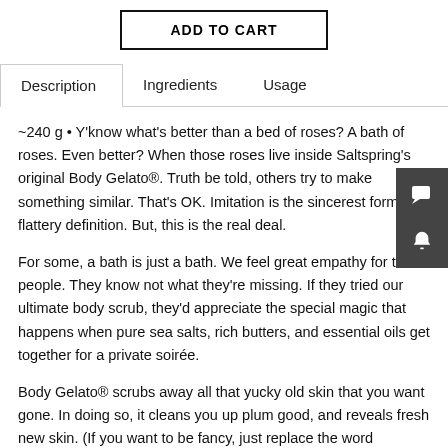ADD TO CART
Description | Ingredients | Usage
~240 g • Y'know what's better than a bed of roses? A bath of roses. Even better? When those roses live inside Saltspring's original Body Gelato®. Truth be told, others try to make something similar. That's OK. Imitation is the sincerest form of flattery definition. But, this is the real deal.
For some, a bath is just a bath. We feel great empathy for those people. They know not what they're missing. If they tried our ultimate body scrub, they'd appreciate the special magic that happens when pure sea salts, rich butters, and essential oils get together for a private soirée.
Body Gelato® scrubs away all that yucky old skin that you want gone. In doing so, it cleans you up plum good, and reveals fresh new skin. (If you want to be fancy, just replace the word